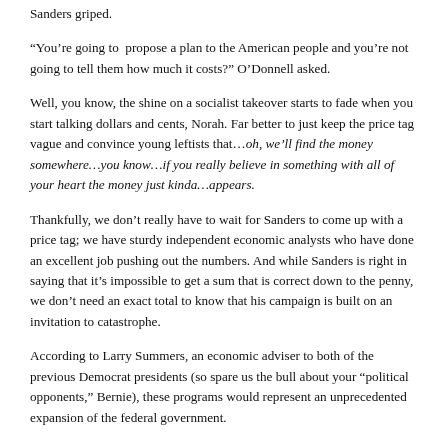Sanders griped.
“You’re going to propose a plan to the American people and you’re not going to tell them how much it costs?” O’Donnell asked.
Well, you know, the shine on a socialist takeover starts to fade when you start talking dollars and cents, Norah. Far better to just keep the price tag vague and convince young leftists that…oh, we’ll find the money somewhere…you know…if you really believe in something with all of your heart the money just kinda…appears.
Thankfully, we don’t really have to wait for Sanders to come up with a price tag; we have sturdy independent economic analysts who have done an excellent job pushing out the numbers. And while Sanders is right in saying that it’s impossible to get a sum that is correct down to the penny, we don’t need an exact total to know that his campaign is built on an invitation to catastrophe.
According to Larry Summers, an economic adviser to both of the previous Democrat presidents (so spare us the bull about your “political opponents,” Bernie), these programs would represent an unprecedented expansion of the federal government.